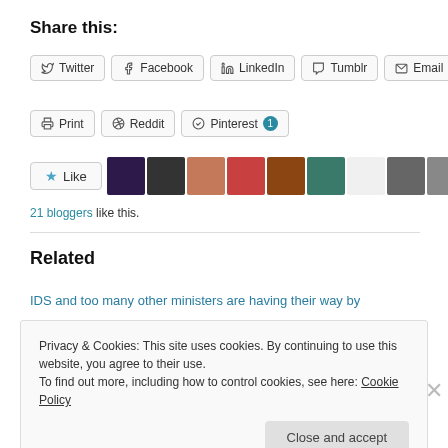Share this:
Twitter, Facebook, LinkedIn, Tumblr, Email, Print, Reddit, Pinterest (share buttons)
21 bloggers like this.
Related
IDS and too many other ministers are having their way by
Privacy & Cookies: This site uses cookies. By continuing to use this website, you agree to their use. To find out more, including how to control cookies, see here: Cookie Policy
Close and accept